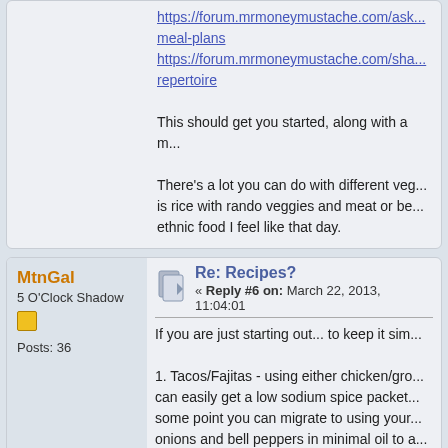https://forum.mrmoneymustache.com/ask meal-plans
https://forum.mrmoneymustache.com/sha repertoire
This should get you started, along with a...
There's a lot you can do with different veg... is rice with rando veggies and meat or be... ethnic food I feel like that day.
MtnGal
5 O'Clock Shadow
Posts: 36
Re: Recipes?
« Reply #6 on: March 22, 2013, 11:04:01
If you are just starting out... to keep it sim...
1. Tacos/Fajitas - using either chicken/gro... can easily get a low sodium spice packet... some point you can migrate to using your... onions and bell peppers in minimal oil to a... heat and then stir occasionally until the or... some lettuce and throw on a tortilla or in a... healthy or add a little grated cheese and s...